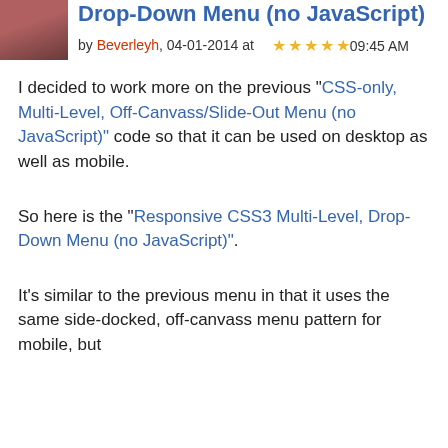Drop-Down Menu (no JavaScript)
by Beverleyh, 04-01-2014 at 09:45 AM [5 stars]
I decided to work more on the previous "CSS-only, Multi-Level, Off-Canvass/Slide-Out Menu (no JavaScript)" code so that it can be used on desktop as well as mobile.
So here is the "Responsive CSS3 Multi-Level, Drop-Down Menu (no JavaScript)".
It's similar to the previous menu in that it uses the same side-docked, off-canvass menu pattern for mobile, but